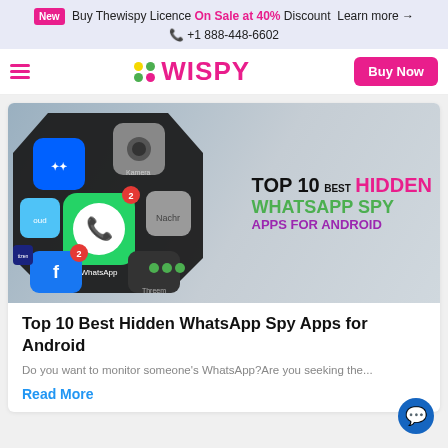New  Buy Thewispy Licence On Sale at 40% Discount Learn more → ☎ +1 888-448-6602
[Figure (logo): TheWispy logo with colored dots and pink WISPY text, hamburger menu, and Buy Now button]
[Figure (illustration): Article hero image: phone app icons cluster on left, text overlay on right reading TOP 10 BEST HIDDEN WHATSAPP SPY APPS FOR ANDROID]
Top 10 Best Hidden WhatsApp Spy Apps for Android
Do you want to monitor someone's WhatsApp?Are you seeking the...
Read More